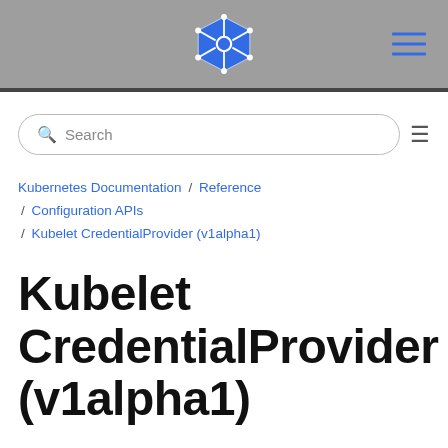Kubernetes logo and navigation header
Search
Kubernetes Documentation / Reference / Configuration APIs / Kubelet CredentialProvider (v1alpha1)
Kubelet CredentialProvider (v1alpha1)